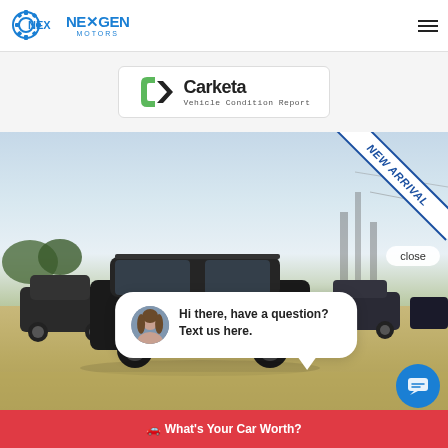[Figure (logo): NexGen Motors logo with gear icon in blue]
[Figure (logo): Carketa Vehicle Condition Report logo with green and black chevron icon]
[Figure (photo): Car dealership lot photo showing a dark SUV/wagon in the foreground with other vehicles in background, cloudy sky, 'NEW ARRIVAL' ribbon in top right corner]
close
Hi there, have a question? Text us here.
What's Your Car Worth?